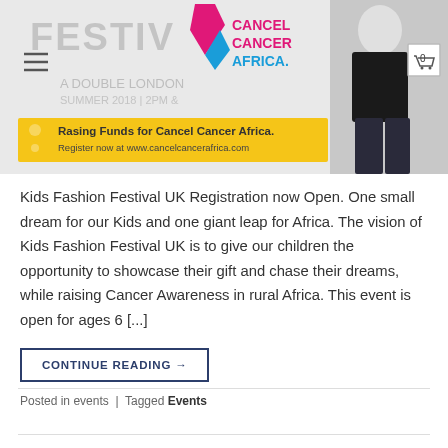Cancel Cancer Africa
[Figure (photo): Kids Fashion Festival UK banner with yellow background showing 'Rasing Funds for Cancel Cancer Africa. Register now at www.cancelcancerafrica.com' and a person in a patterned skirt, overlaid with Cancel Cancer Africa logo at top.]
Kids Fashion Festival UK Registration now Open. One small dream for our Kids and one giant leap for Africa. The vision of Kids Fashion Festival UK is to give our children the opportunity to showcase their gift and chase their dreams, while raising Cancer Awareness in rural Africa. This event is open for ages 6 [...]
CONTINUE READING →
Posted in events  |  Tagged Events